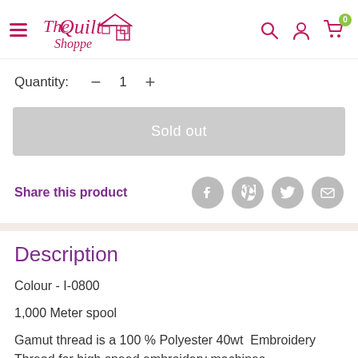The Quilt Shoppe — navigation header with search, account, cart icons
Quantity: — 1 +
Sold out
Share this product
Description
Colour - I-0800
1,000 Meter spool
Gamut thread is a 100 % Polyester 40wt  Embroidery Thread for high speed embroidery machines.